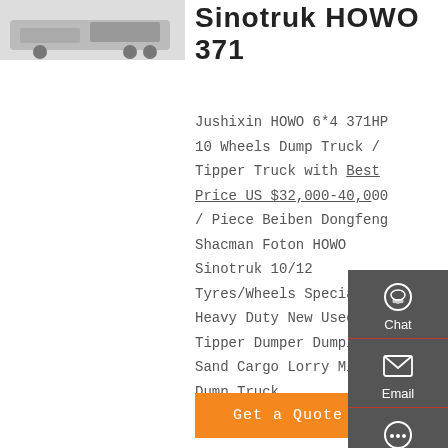[Figure (photo): Partial view of a Sinotruk HOWO dump truck, light colored background]
Sinotruk HOWO 371
Jushixin HOWO 6*4 371HP 10 Wheels Dump Truck / Tipper Truck with Best Price US $32,000-40,000 / Piece Beiben Dongfeng Shacman Foton HOWO Sinotruk 10/12 Tyres/Wheels Special Heavy Duty New Used Tipper Dumper Dumping Sand Cargo Lorry Mining Dump Truck
Get a Quote